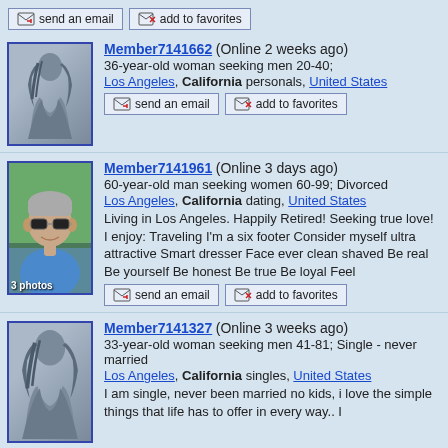send an email | add to favorites (top bar)
Member7141662 (Online 2 weeks ago) 36-year-old woman seeking men 20-40; Los Angeles, California personals, United States
Member7141961 (Online 3 days ago) 60-year-old man seeking women 60-99; Divorced Los Angeles, California dating, United States Living in Los Angeles. Happily Retired! Seeking true love! I enjoy: Traveling I'm a six footer Consider myself ultra attractive Smart dresser Face ever clean shaved Be real Be yourself Be honest Be true Be loyal Feel
Member7141327 (Online 3 weeks ago) 33-year-old woman seeking men 41-81; Single - never married Los Angeles, California singles, United States I am single, never been married no kids, i love the simple things that life has to offer in every way.. I